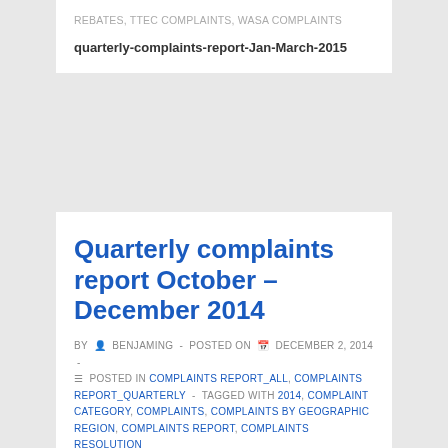REBATES, TTEC COMPLAINTS, WASA COMPLAINTS
quarterly-complaints-report-Jan-March-2015
Quarterly complaints report October – December 2014
BY BENJAMING - POSTED ON DECEMBER 2, 2014 - POSTED IN COMPLAINTS REPORT_ALL, COMPLAINTS REPORT_QUARTERLY - TAGGED WITH 2014, COMPLAINT CATEGORY, COMPLAINTS, COMPLAINTS BY GEOGRAPHIC REGION, COMPLAINTS REPORT, COMPLAINTS RESOLUTION RATE, COMPLAINTS TYPE, NUMBER OF CUSTOMERS, REBATES, TTEC COMPLAINTS, WASA COMPLAINTS
quarterly-complaints-report-Oct-Dec 2014